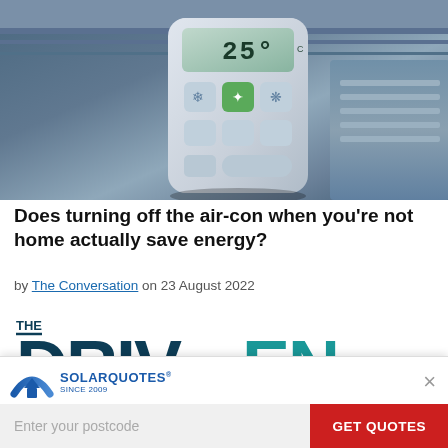[Figure (photo): Close-up photo of an air conditioning remote control showing 25°C temperature, held in front of an air conditioning unit. Dark blue-grey tones.]
Does turning off the air-con when you're not home actually save energy?
by The Conversation on 23 August 2022
[Figure (logo): THE DRIVEN logo in large dark teal bold text]
[Figure (infographic): SolarQuotes promotional banner with logo, postcode input field, and GET QUOTES button]